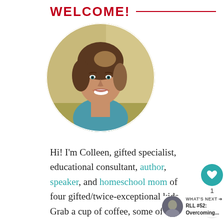WELCOME!
[Figure (photo): Circular profile photo of a smiling woman with brown hair, wearing a teal top, outdoors with blurred background.]
Hi! I'm Colleen, gifted specialist, educational consultant, author, speaker, and homeschool mom of four gifted/twice-exceptional kids.
Grab a cup of coffee, some of that